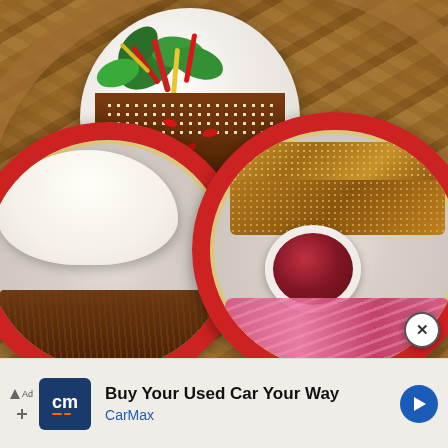[Figure (photo): Overhead view of Asian food dishes on a bamboo steamer tray: a white bowl with teriyaki/glazed meat topped with sesame seeds, red and yellow bell pepper strips, and fresh basil leaves over rice; a red decorative plate on the lower left with a large white steamed bao bun filled with braised meat and vegetables; a red decorative plate on the lower right with sesame-crusted toast/bread, a small white cup of red dipping sauce, and pickled pink vegetables. A close (X) button appears at bottom right of the photo.]
[Figure (screenshot): Advertisement banner at the bottom of the page showing a CarMax logo (dark blue square with 'cm' text and orange lines), the text 'Buy Your Used Car Your Way' in bold, 'CarMax' in blue below, and a blue circular navigation arrow icon on the right. A small triangular ad indicator and X close icon appear on the left.]